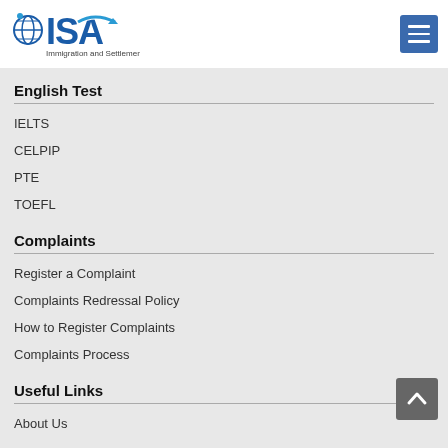[Figure (logo): ISA Immigration and Settlement Services logo with globe icon and arrow]
English Test
IELTS
CELPIP
PTE
TOEFL
Complaints
Register a Complaint
Complaints Redressal Policy
How to Register Complaints
Complaints Process
Useful Links
About Us